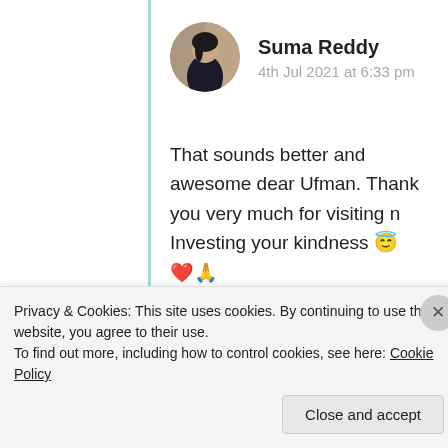[Figure (photo): Circular avatar photo of Suma Reddy, a woman with dark hair]
Suma Reddy
4th Jul 2021 at 6:33 pm
That sounds better and awesome dear Ufman. Thank you very much for visiting n Investing your kindness 😇 ❤️🙏
★ Like
Log in to Reply
Privacy & Cookies: This site uses cookies. By continuing to use this website, you agree to their use.
To find out more, including how to control cookies, see here: Cookie Policy
Close and accept